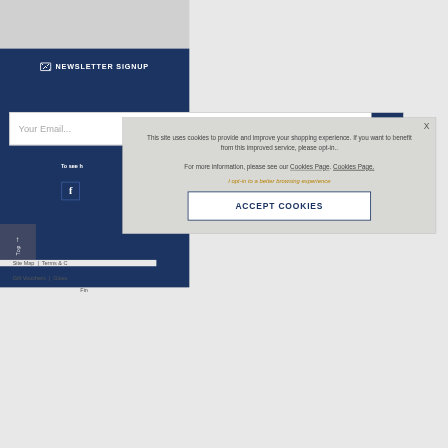NEWSLETTER SIGNUP
Your Email...
To see h
[Figure (screenshot): Facebook social media icon (f) in navy blue]
[Figure (screenshot): Scroll to top button with upward arrow and 'Top' label]
Site Map  |  Terms & C
Gift Vouchers  |  Gloss
Fin
This site uses cookies to provide and improve your shopping experience. If you want to benefit from this improved service, please opt-in.. For more information, please see our Cookies Page. Cookies Page.
I opt-in to a better browsing experience
ACCEPT COOKIES